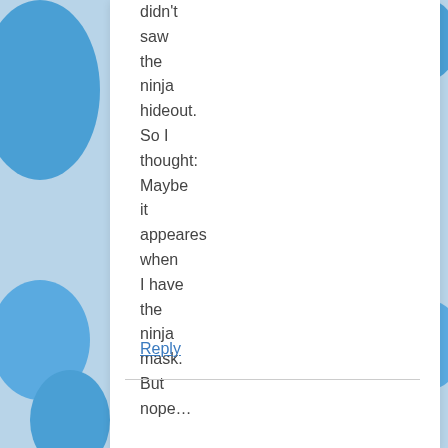didn't saw the ninja hideout. So I thought: Maybe it appeares when I have the ninja mask. But nope…
Reply